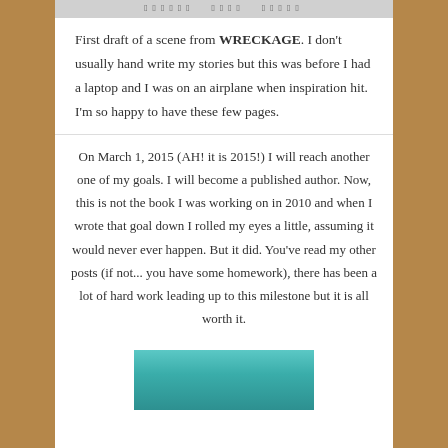[Figure (photo): Top portion of a handwritten manuscript page with cursive script visible]
First draft of a scene from WRECKAGE. I don't usually hand write my stories but this was before I had a laptop and I was on an airplane when inspiration hit. I'm so happy to have these few pages.
On March 1, 2015 (AH! it is 2015!) I will reach another one of my goals. I will become a published author. Now, this is not the book I was working on in 2010 and when I wrote that goal down I rolled my eyes a little, assuming it would never ever happen. But it did. You've read my other posts (if not... you have some homework), there has been a lot of hard work leading up to this milestone but it is all worth it.
[Figure (photo): Bottom portion showing a teal/turquoise colored photo, appears to be a portrait beginning at the bottom of the page]